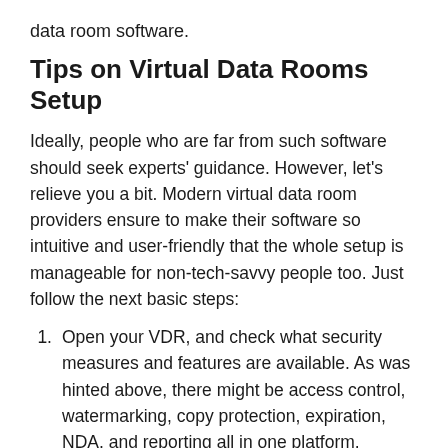data room software.
Tips on Virtual Data Rooms Setup
Ideally, people who are far from such software should seek experts' guidance. However, let's relieve you a bit. Modern virtual data room providers ensure to make their software so intuitive and user-friendly that the whole setup is manageable for non-tech-savvy people too. Just follow the next basic steps:
Open your VDR, and check what security measures and features are available. As was hinted above, there might be access control, watermarking, copy protection, expiration, NDA, and reporting all in one platform.
Set up the reporting. You should observe how, when, and for how long your receivers/third users may interact with your files. Simply, you should